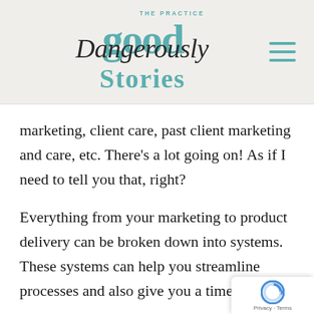[Figure (logo): Dangerously Good Stories logo with teal 'good' text and cursive 'Dangerously' overlaid, 'stories' in teal serif below, 'THE PRACTICE' in small caps arc above]
marketing, client care, past client marketing and care, etc. There’s a lot going on! As if I need to tell you that, right?
Everything from your marketing to product delivery can be broken down into systems. These systems can help you streamline processes and also give you a time estim